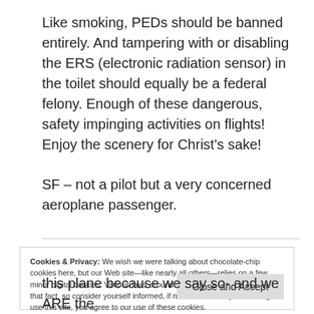Like smoking, PEDs should be banned entirely. And tampering with or disabling the ERS (electronic radiation sensor) in the toilet should equally be a federal felony. Enough of these dangerous, safety impinging activities on flights! Enjoy the scenery for Christ's sake!
SF – not a pilot but a very concerned aeroplane passenger.
Cookies & Privacy: We wish we were talking about chocolate-chip cookies here, but our Web site—like nearly all others—relies on a few minor digital cookies. Various laws around the world require us to tell you that fact, so consider yourself informed, if not nourished. By continuing to use this site, you agree to our use of these cookies. Cookie and Privacy Notice
this plane because we say so- and we ARE the